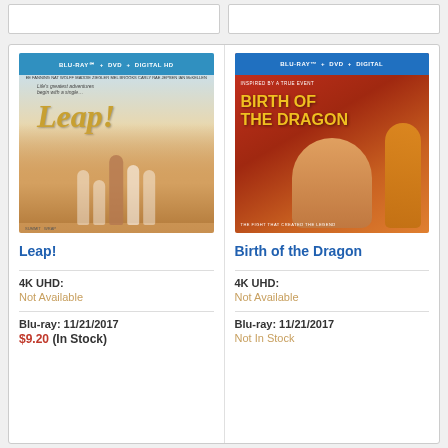[Figure (photo): Leap! Blu-ray + DVD + Digital HD movie cover showing animated ballerina characters]
[Figure (photo): Birth of the Dragon Blu-ray + DVD + Digital movie cover showing a martial artist]
Leap!
Birth of the Dragon
4K UHD:
Not Available
Blu-ray: 11/21/2017
$9.20 (In Stock)
4K UHD:
Not Available
Blu-ray: 11/21/2017
Not In Stock